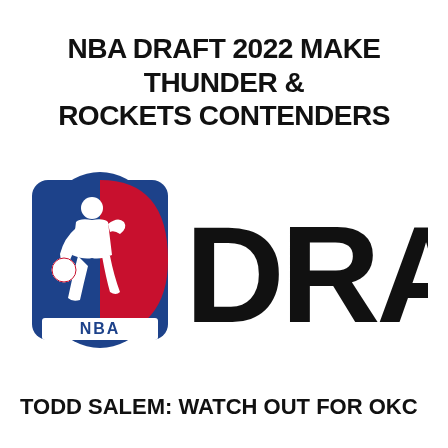NBA DRAFT 2022 MAKE THUNDER & ROCKETS CONTENDERS
[Figure (logo): NBA Draft logo: NBA Jerry West silhouette logo on left in blue/red/white, followed by large bold black text 'DRAFT']
TODD SALEM: WATCH OUT FOR OKC